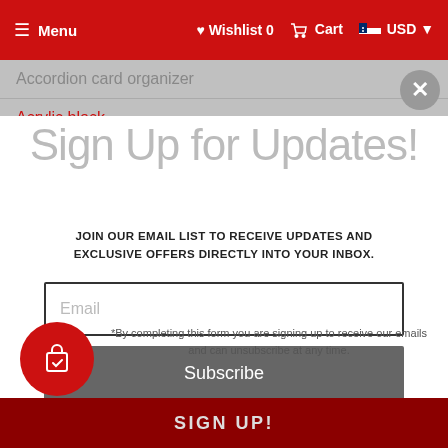☰ Menu  ♥ Wishlist 0  🛒 Cart  🇺🇸 USD ▾
Accordion card organizer
Acrylic block
Sign Up for Updates!
JOIN OUR EMAIL LIST TO RECEIVE UPDATES AND EXCLUSIVE OFFERS DIRECTLY INTO YOUR INBOX.
Email
Subscribe
*By completing this form you are signing up to receive our emails and can unsubscribe at any time.
SIGN UP!